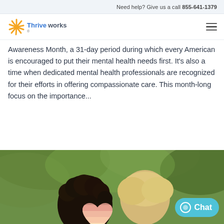Need help? Give us a call 855-641-1379
[Figure (logo): Thriveworks logo with sunburst graphic and blue/yellow text]
Awareness Month, a 31-day period during which every American is encouraged to put their mental health needs first. It's also a time when dedicated mental health professionals are recognized for their efforts in offering compassionate care. This month-long focus on the importance...
[Figure (photo): Two people with curly dark hair and blonde hair touching heads, holding a striped heart symbol, outdoors with green foliage background]